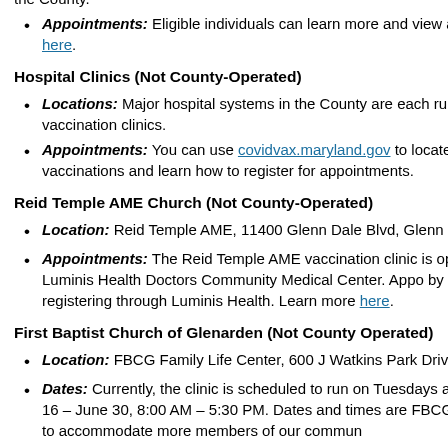the County.
Appointments: Eligible individuals can learn more and view a online here.
Hospital Clinics (Not County-Operated)
Locations: Major hospital systems in the County are each run vaccination clinics.
Appointments: You can use covidvax.maryland.gov to locate vaccinations and learn how to register for appointments.
Reid Temple AME Church (Not County-Operated)
Location: Reid Temple AME, 11400 Glenn Dale Blvd, Glenn D
Appointments: The Reid Temple AME vaccination clinic is op with Luminis Health Doctors Community Medical Center. Appo by pre-registering through Luminis Health. Learn more here.
First Baptist Church of Glenarden (Not County Operated)
Location: FBCG Family Life Center, 600 J Watkins Park Drive
Dates: Currently, the clinic is scheduled to run on Tuesdays a March 16 – June 30, 8:00 AM – 5:30 PM. Dates and times are FBCG seeks to accommodate more members of our commun
Appointments: The First Baptist Church of Glenarden